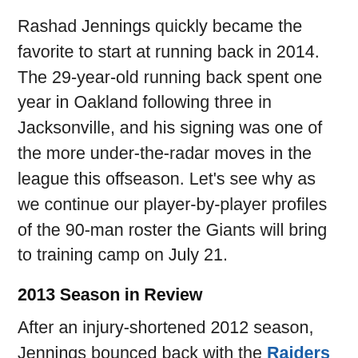Rashad Jennings quickly became the favorite to start at running back in 2014. The 29-year-old running back spent one year in Oakland following three in Jacksonville, and his signing was one of the more under-the-radar moves in the league this offseason. Let's see why as we continue our player-by-player profiles of the 90-man roster the Giants will bring to training camp on July 21.
2013 Season in Review
After an injury-shortened 2012 season, Jennings bounced back with the Raiders last year to the tune of a career-high 733 yards (4.5 per carry) and six touchdowns in 15 games. He started eight games while Darren McFadden struggled with injuries, the most of any of the four seasons that saw Jennings mainly as a backup rusher.